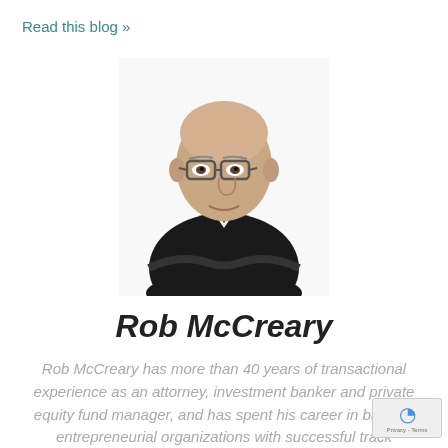Read this blog »
[Figure (photo): Professional headshot of Rob McCreary, a bald man wearing glasses and a dark blazer with arms crossed, white shirt visible, against a white background]
Rob McCreary
Rob McCreary has more than 40 years of transactional experience as an attorney, investment banker and private equity fund manager, and has spent his career in building entrepreneurial organizations with successful track